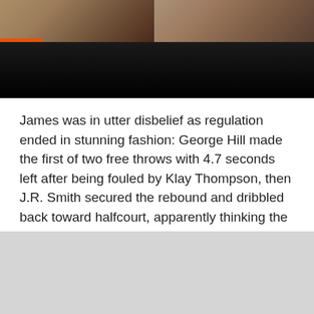[Figure (photo): Photo of basketball players/people, partially visible at top of page with dark background]
James was in utter disbelief as regulation ended in stunning fashion: George Hill made the first of two free throws with 4.7 seconds left after being fouled by Klay Thompson, then J.R. Smith secured the rebound and dribbled back toward halfcourt, apparently thinking the Cavs had a lead.
“He thought it was over. He thought we were up one,” coach Tyronn Lue said.
Not Smith that at below the now Cavs found Smith